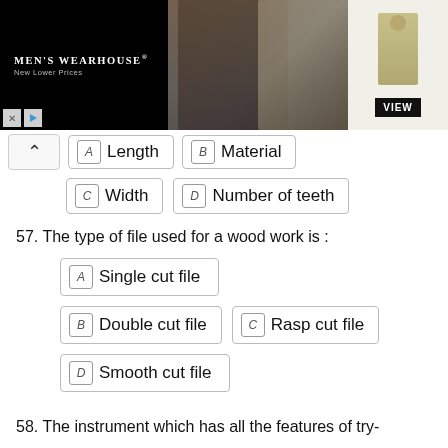[Figure (photo): Men's Wearhouse advertisement banner showing a couple in formal wear and a man in a tan suit, with VIEW button]
A  Length   B  Material
C  Width   D  Number of teeth
57. The type of file used for a wood work is :
A  Single cut file
B  Double cut file   C  Rasp cut file
D  Smooth cut file
58. The instrument which has all the features of try-